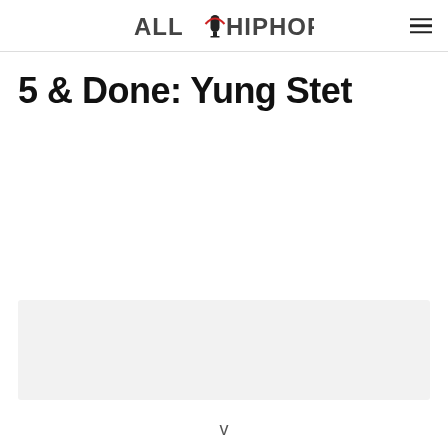ALL HIP HOP
5 & Done: Yung Stet
[Figure (other): Gray advertisement placeholder box]
v